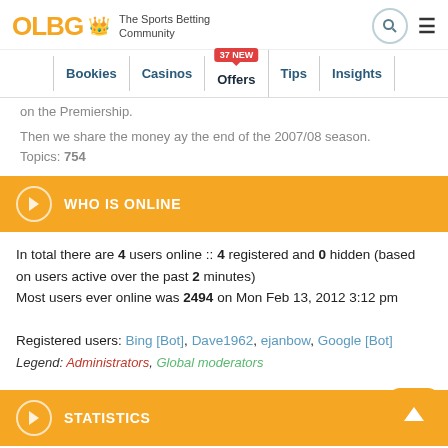OLBG The Sports Betting Community
on the Premiership.
Then we share the money ay the end of the 2007/08 season. Topics: 754
WHO IS ONLINE
In total there are 4 users online :: 4 registered and 0 hidden (based on users active over the past 2 minutes)
Most users ever online was 2494 on Mon Feb 13, 2012 3:12 pm

Registered users: Bing [Bot], Dave1962, ejanbow, Google [Bot]
Legend: Administrators, Global moderators
STATISTICS